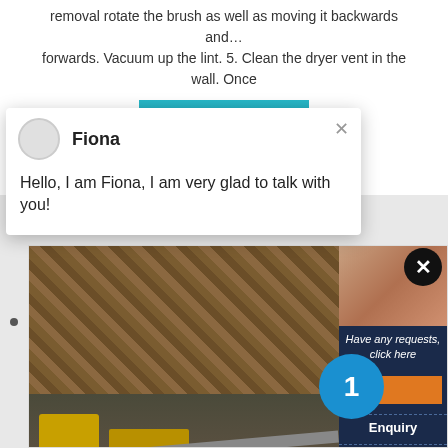removal rotate the brush as well as moving it backwards and… forwards. Vacuum up the lint. 5. Clean the dryer vent in the wall. Once
CHAT ONLINE
[Figure (screenshot): A screenshot of a website showing machinery/equipment images, a dark blue side panel with enquiry options, a chat popup from Fiona, and a product title about Cloths Dryer Vent & Hose Brush Lint, Dirt & Dust Remover Kit]
Fiona
Hello, I am Fiona, I am very glad to talk with you!
Have any requests, click here
Enquiry
limingjlmofen@sina.com
Cloths Dryer Vent & Hose Brush Lint, Dirt & Dust Remover Kit